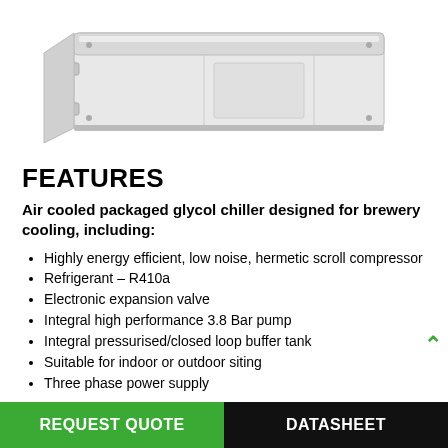[Figure (photo): Air cooled packaged glycol chiller unit — a large white rectangular industrial chiller machine photographed from a slight angle, showing the top and front panels with mounting brackets.]
FEATURES
Air cooled packaged glycol chiller designed for brewery cooling, including:
Highly energy efficient, low noise, hermetic scroll compressor
Refrigerant – R410a
Electronic expansion valve
Integral high performance 3.8 Bar pump
Integral pressurised/closed loop buffer tank
Suitable for indoor or outdoor siting
Three phase power supply
REQUEST QUOTE | DATASHEET